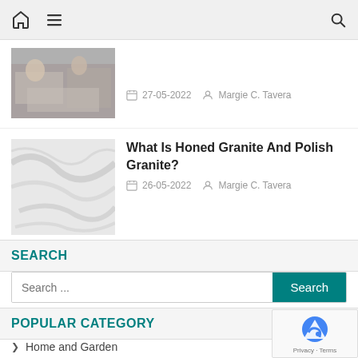Navigation bar with home icon, hamburger menu, and search icon
[Figure (photo): Partial view of a photo showing people around a table with papers/maps, cut off at top]
27-05-2022   Margie C. Tavera
[Figure (photo): Close-up photo of white/grey marble texture]
What Is Honed Granite And Polish Granite?
26-05-2022   Margie C. Tavera
SEARCH
Search ...
POPULAR CATEGORY
Home and Garden